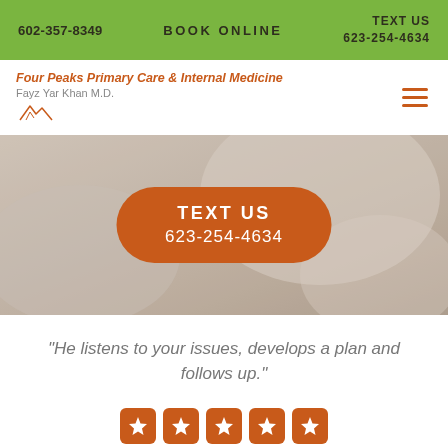602-357-8349   BOOK ONLINE   TEXT US 623-254-4634
Four Peaks Primary Care & Internal Medicine
Fayz Yar Khan M.D.
[Figure (screenshot): Hero image of a medical/care scene with blurred background showing a patient, overlaid with an orange rounded button reading TEXT US 623-254-4634]
"He listens to your issues, develops a plan and follows up."
[Figure (infographic): Five orange star rating boxes]
SELF-VERIFIED PATIENT VITALS